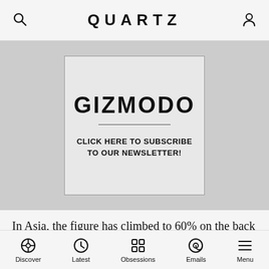QUARTZ
[Figure (other): Gizmodo newsletter subscription advertisement banner with text: GIZMODO / CLICK HERE TO SUBSCRIBE TO OUR NEWSLETTER!]
In Asia, the figure has climbed to 60% on the back of major trade agreements such as the Regional Comprehensive Economic Partnership. Migration and investment are also far more regional than global. You
Discover | Latest | Obsessions | Emails | Menu